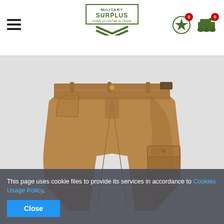[Figure (logo): Military Surplus logo with star and tank icons in header navigation bar]
[Figure (photo): Coyote brown/tan military cargo shorts displayed on white background, showing front waistband, pockets, and cargo side pocket]
This page uses cookie files to provide its services in accordance to Cookies Usage Policy.
Close